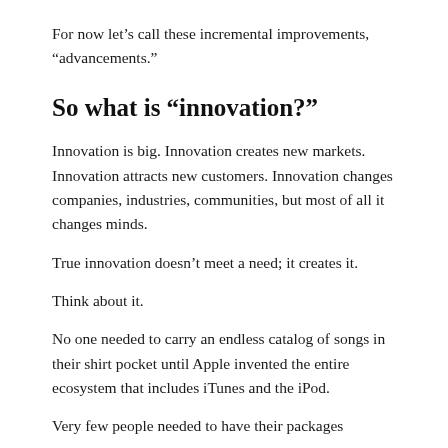For now let’s call these incremental improvements, “advancements.”
So what is “innovation?”
Innovation is big. Innovation creates new markets. Innovation attracts new customers. Innovation changes companies, industries, communities, but most of all it changes minds.
True innovation doesn’t meet a need; it creates it.
Think about it.
No one needed to carry an endless catalog of songs in their shirt pocket until Apple invented the entire ecosystem that includes iTunes and the iPod.
Very few people needed to have their packages…